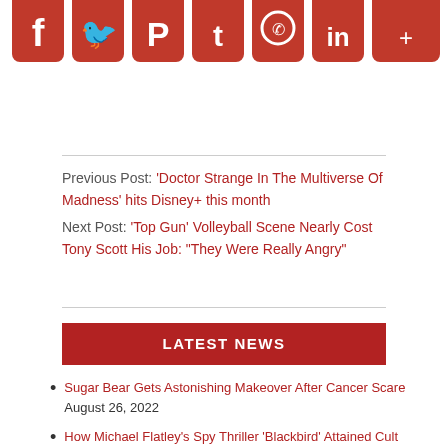[Figure (illustration): Row of red social media icon buttons (Facebook, Twitter, Pinterest, Tumblr, WhatsApp, LinkedIn, RSS) arranged horizontally, partially cropped at top]
Previous Post: 'Doctor Strange In The Multiverse Of Madness' hits Disney+ this month
Next Post: 'Top Gun' Volleyball Scene Nearly Cost Tony Scott His Job: "They Were Really Angry"
LATEST NEWS
Sugar Bear Gets Astonishing Makeover After Cancer Scare August 26, 2022
How Michael Flatley's Spy Thriller 'Blackbird' Attained Cult Film Status Without Ever Having Been Seen August 26, 2022